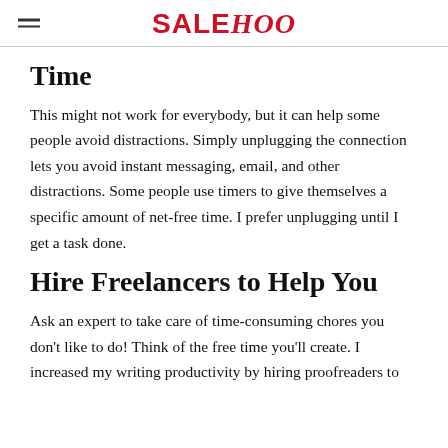SALEHOO
Time
This might not work for everybody, but it can help some people avoid distractions. Simply unplugging the connection lets you avoid instant messaging, email, and other distractions. Some people use timers to give themselves a specific amount of net-free time. I prefer unplugging until I get a task done.
Hire Freelancers to Help You
Ask an expert to take care of time-consuming chores you don't like to do! Think of the free time you'll create. I increased my writing productivity by hiring proofreaders to